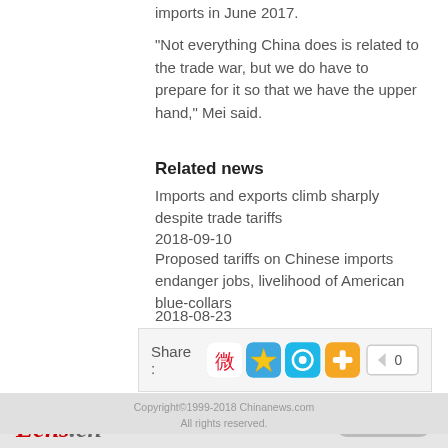imports in June 2017.
"Not everything China does is related to the trade war, but we do have to prepare for it so that we have the upper hand," Mei said.
Related news
Imports and exports climb sharply despite trade tariffs
2018-09-10
Proposed tariffs on Chinese imports endanger jobs, livelihood of American blue-collars
2018-08-23
[Figure (infographic): Share bar with social media icons (Weibo, Zhuanlan, Pinyin, plus button) and a count box showing 0]
Ecns.cn   Back top   Copyright©1999-2018 Chinanews.com All rights reserved.